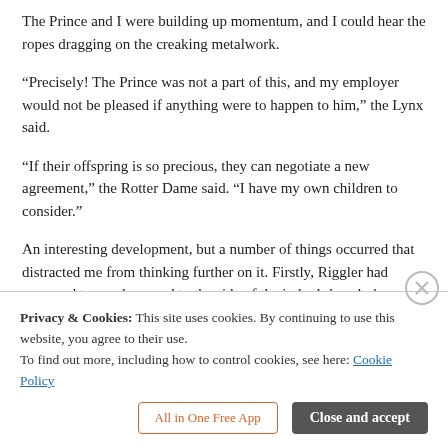The Prince and I were building up momentum, and I could hear the ropes dragging on the creaking metalwork.
“Precisely! The Prince was not a part of this, and my employer would not be pleased if anything were to happen to him,” the Lynx said.
“If their offspring is so precious, they can negotiate a new agreement,” the Rotter Dame said. “I have my own children to consider.”
An interesting development, but a number of things occurred that distracted me from thinking further on it. Firstly, Riggler had managed to sneak around to the side of the judge’s bench; he lunged at the Lynx, wielding a sword with his one good arm, but the Lynx was just fast enough to dodge the rotter’s thrust. That was the last I saw, because the rope holding my chair snapped as we had hoped, and the chair and I fell to the stone floor below. The chair wasn’t very
Privacy & Cookies: This site uses cookies. By continuing to use this website, you agree to their use.
To find out more, including how to control cookies, see here: Cookie Policy